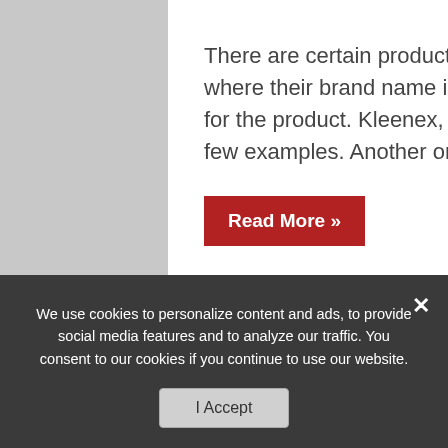There are certain products that have reached the point of fame where their brand name is commonly used as the generic name for the product. Kleenex, Band-Aid, Jell-O and Scotch tape are a few examples. Another one, maybe not quite ...
Read More »
Biodiesel And You: A Fully Functional Fuel You Can
We use cookies to personalize content and ads, to provide social media features and to analyze our traffic. You consent to our cookies if you continue to use our website.
I Accept